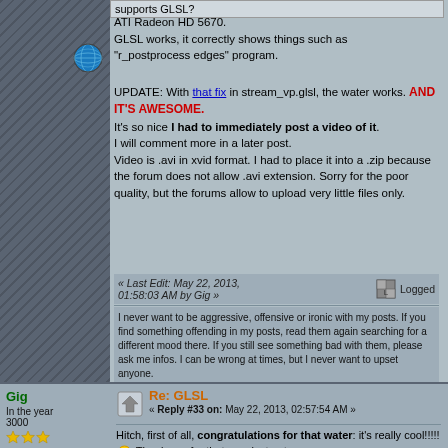supports GLSL?
ATI Radeon HD 5670.
GLSL works, it correctly shows things such as "r_postprocess edges" program.

UPDATE: With that fix in stream_vp.glsl, the water works. AND IT'S AWESOME.
It's so nice I had to immediately post a video of it.
I will comment more in a later post.
Video is .avi in xvid format. I had to place it into a .zip because the forum does not allow .avi extension. Sorry for the poor quality, but the forums allow to upload very little files only.
« Last Edit: May 22, 2013, 01:58:03 AM by Gig » Logged
I never want to be aggressive, offensive or ironic with my posts. If you find something offending in my posts, read them again searching for a different mood there. If you still see something bad with them, please ask me infos. I can be wrong at times, but I never want to upset anyone.
Gig
In the year 3000
Cakes 45
Posts: 4393
Re: GLSL
« Reply #33 on: May 22, 2013, 02:57:54 AM »
Hitch, first of all, congratulations for that water: it's really cool!!!!! Thank you for that, you just got